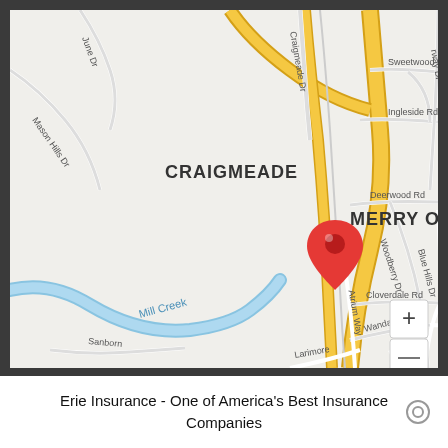[Figure (map): Google Maps screenshot showing the area around Craigmeade and Merry Oaks neighborhoods. A red location pin is placed on a road (Atrium Way). Major roads shown include a yellow highway running vertically, Mill Creek (blue waterway) running diagonally, and several labeled streets: June Dr, Craigmeade Dr, Sweetwood Rd, Ingleside Rd, Deerwood Rd, Woodberry Dr, Blue Hills Dr, Cloverdale Rd, Wanda Dr, Atrium Way, Adair Rd, Sanborn, Larimore. Neighborhood labels: CRAIGMEADE (left) and MERRY OAKS (right). Map controls including a + zoom button visible in lower right.]
Erie Insurance - One of America's Best Insurance Companies